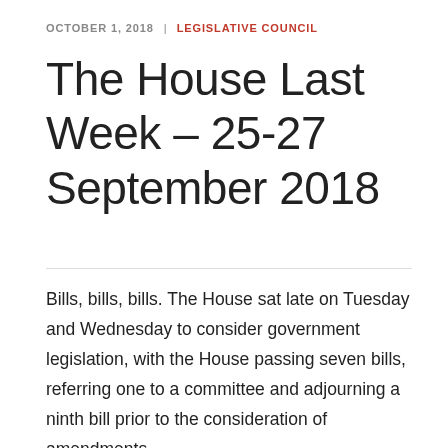OCTOBER 1, 2018 | LEGISLATIVE COUNCIL
The House Last Week – 25-27 September 2018
Bills, bills, bills. The House sat late on Tuesday and Wednesday to consider government legislation, with the House passing seven bills, referring one to a committee and adjourning a ninth bill prior to the consideration of amendments.